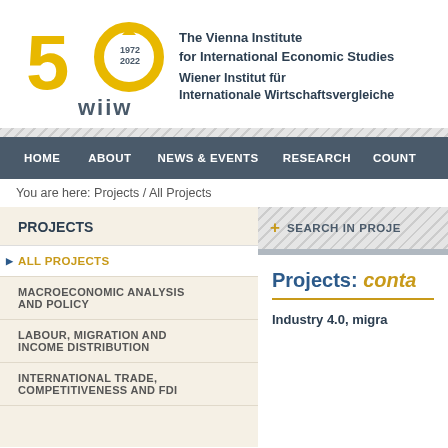[Figure (logo): wiiw 50th anniversary logo (1972-2022) with yellow stylized 50 and circular arrow, wiiw text below]
The Vienna Institute for International Economic Studies
Wiener Institut für Internationale Wirtschaftsvergleiche
HOME
ABOUT
NEWS & EVENTS
RESEARCH
COUNT
You are here: Projects / All Projects
PROJECTS
ALL PROJECTS
MACROECONOMIC ANALYSIS AND POLICY
LABOUR, MIGRATION AND INCOME DISTRIBUTION
INTERNATIONAL TRADE, COMPETITIVENESS AND FDI
+ SEARCH IN PROJE
Projects: conta
Industry 4.0, migra